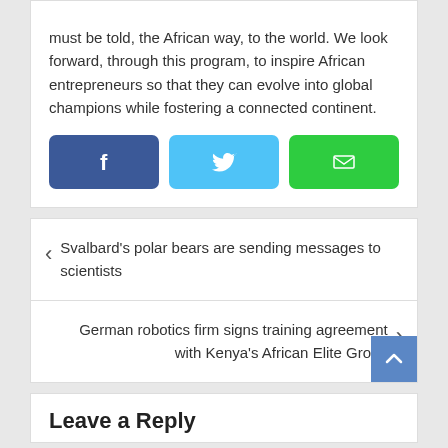must be told, the African way, to the world. We look forward, through this program, to inspire African entrepreneurs so that they can evolve into global champions while fostering a connected continent.
[Figure (infographic): Three social share buttons: Facebook (dark blue with f icon), Twitter (light blue with bird icon), Email (green with envelope icon)]
Svalbard's polar bears are sending messages to scientists
German robotics firm signs training agreement with Kenya's African Elite Group
Leave a Reply